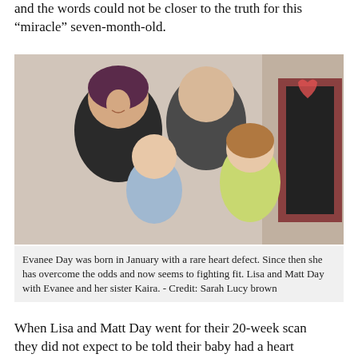and the words could not be closer to the truth for this “miracle” seven-month-old.
[Figure (photo): Family photo of Lisa and Matt Day with baby Evanee and older sister Kaira, sitting together in a home setting with floral wallpaper and a fireplace in the background.]
Evanee Day was born in January with a rare heart defect. Since then she has overcome the odds and now seems to fighting fit. Lisa and Matt Day with Evanee and her sister Kaira. - Credit: Sarah Lucy brown
When Lisa and Matt Day went for their 20-week scan they did not expect to be told their baby had a heart